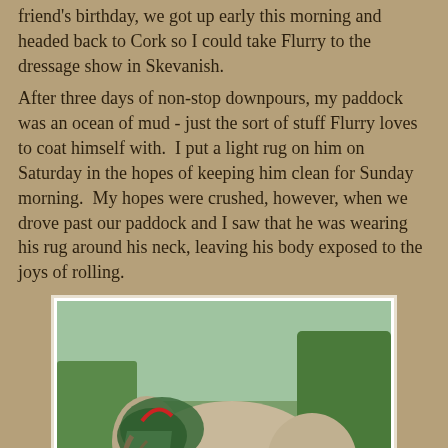friend's birthday, we got up early this morning and headed back to Cork so I could take Flurry to the dressage show in Skevanish.
After three days of non-stop downpours, my paddock was an ocean of mud - just the sort of stuff Flurry loves to coat himself with.  I put a light rug on him on Saturday in the hopes of keeping him clean for Sunday morning.  My hopes were crushed, however, when we drove past our paddock and I saw that he was wearing his rug around his neck, leaving his body exposed to the joys of rolling.
[Figure (photo): A horse (Flurry) standing in a muddy paddock with a rug/blanket slipped down around its neck rather than properly covering its body. The horse appears to be a grey/dun color. Green grass and trees visible in background.]
An hour of serious mud scraping ensued, using tho